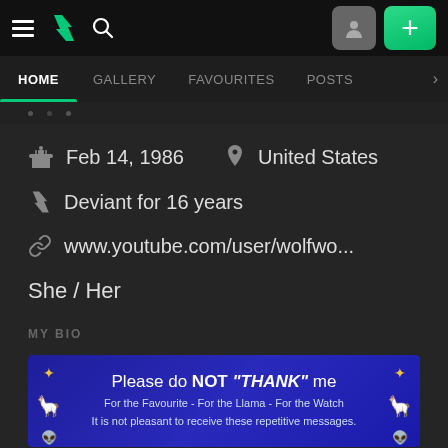DeviantArt navigation bar with hamburger menu, DA logo, search icon, profile button, add button
HOME   GALLERY   FAVOURITES   POSTS
Feb 14, 1986   United States
Deviant for 16 years
www.youtube.com/user/wolfwo...
She / Her
MY BIO
[Figure (illustration): Blue banner image with text: Please do NOT "THANK" me / For the Favourite - For the Llama - For the Watch / It is not pleasant to receive these repetitive messages. Decorated with star and llama and alien emoji icons on sides.]